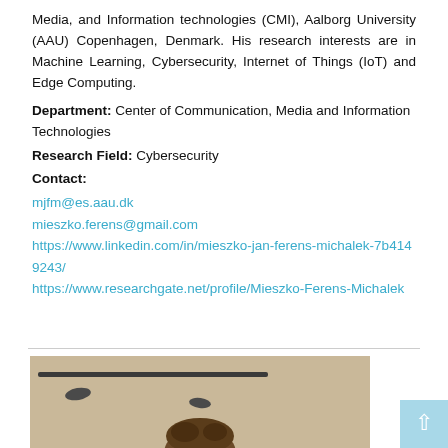Media, and Information technologies (CMI), Aalborg University (AAU) Copenhagen, Denmark. His research interests are in Machine Learning, Cybersecurity, Internet of Things (IoT) and Edge Computing.
Department: Center of Communication, Media and Information Technologies
Research Field: Cybersecurity
Contact:
mjfm@es.aau.dk
mieszko.ferens@gmail.com
https://www.linkedin.com/in/mieszko-jan-ferens-michalek-7b4149243/
https://www.researchgate.net/profile/Mieszko-Ferens-Michalek
[Figure (photo): Partial photo of a person (head visible at bottom center) against a beige/cream wall background with a horizontal bar/shelf above]